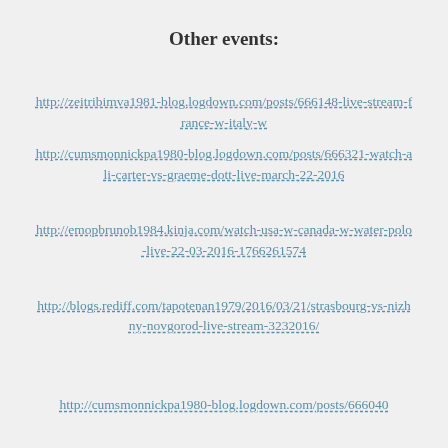Other events:
http://zeitribimva1981-blog.logdown.com/posts/666148-live-stream-france-w-italy-w
http://cumsmonnickpa1980-blog.logdown.com/posts/666321-watch-ali-carter-vs-graeme-dott-live-march-22-2016
http://emopbrunob1984.kinja.com/watch-usa-w-canada-w-water-polo-live-22-03-2016-1766261574
http://blogs.rediff.com/tapotenan1979/2016/03/21/strasbourg-vs-nizhny-novgorod-live-stream-3232016/
http://cumsmonnickpa1980-blog.logdown.com/posts/666040